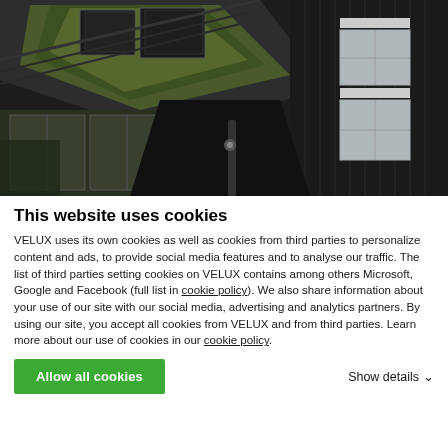[Figure (photo): Exterior of a modern dark-wood building with green roof, skylights, glass doors and white-framed windows.]
This website uses cookies
VELUX uses its own cookies as well as cookies from third parties to personalize content and ads, to provide social media features and to analyse our traffic. The list of third parties setting cookies on VELUX contains among others Microsoft, Google and Facebook (full list in cookie policy). We also share information about your use of our site with our social media, advertising and analytics partners. By using our site, you accept all cookies from VELUX and from third parties. Learn more about our use of cookies in our cookie policy.
Allow all cookies
Show details